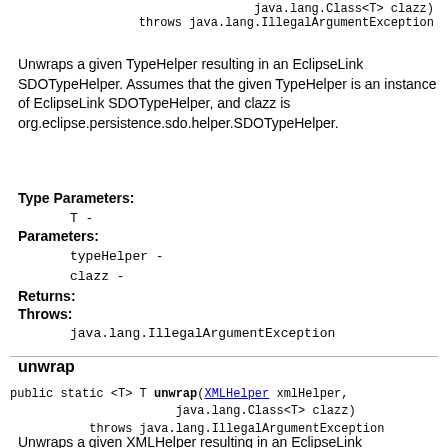java.lang.Class<T> clazz)
    throws java.lang.IllegalArgumentException
Unwraps a given TypeHelper resulting in an EclipseLink SDOTypeHelper. Assumes that the given TypeHelper is an instance of EclipseLink SDOTypeHelper, and clazz is org.eclipse.persistence.sdo.helper.SDOTypeHelper.
Type Parameters:
T -
Parameters:
typeHelper -
clazz -
Returns:
Throws:
java.lang.IllegalArgumentException
unwrap
public static <T> T unwrap(XMLHelper xmlHelper,
                           java.lang.Class<T> clazz)
               throws java.lang.IllegalArgumentException
Unwraps a given XMLHelper resulting in an EclipseLink SDOXMLHelper or an EclipseLink XMLContext depending